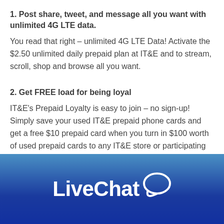1. Post share, tweet, and message all you want with unlimited 4G LTE data.
You read that right – unlimited 4G LTE Data! Activate the $2.50 unlimited daily prepaid plan at IT&E and to stream, scroll, shop and browse all you want.
2. Get FREE load for being loyal
IT&E's Prepaid Loyalty is easy to join – no sign-up! Simply save your used IT&E prepaid phone cards and get a free $10 prepaid card when you turn in $100 worth of used prepaid cards to any IT&E store or participating convenience stores. Click here for details
[Figure (logo): LiveChat logo with chat bubble icon on a blue gradient background]